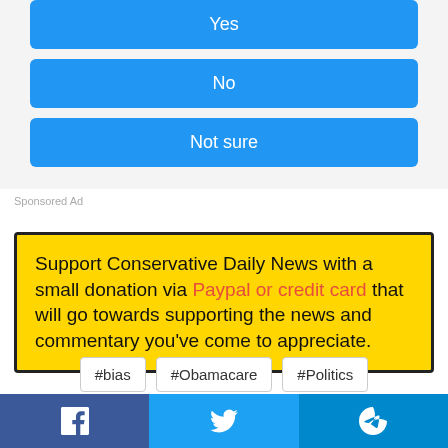Yes
No
Not sure
Sponsored Ad
Support Conservative Daily News with a small donation via Paypal or credit card that will go towards supporting the news and commentary you've come to appreciate.
#bias
#Obamacare
#Politics
Facebook | Twitter | Telegram social share buttons